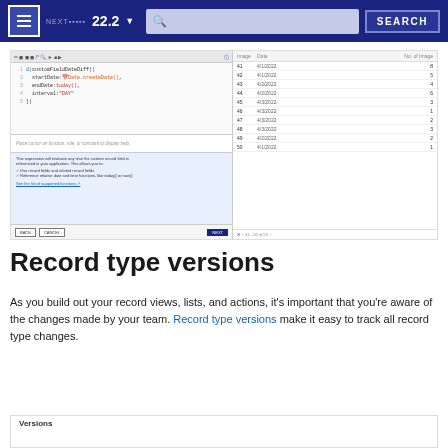22.2 ▾  SEARCH
[Figure (screenshot): Screenshot of a custom field date expression editor (left panel with code: d(customFieldDateDiff({ startDate: Date.createDate(), endDate: today(), interval: 'DAY' })) with help and info panels, BACK/CANCEL/NEXT buttons) and a data table (right panel listing rows 41-50 with dates around 4/1/2022–4/3/2022 and counts 1-8, pagination showing 41-50 of 53)]
Record type versions
As you build out your record views, lists, and actions, it's important that you're aware of the changes made by your team. Record type versions make it easy to track all record type changes.
[Figure (screenshot): Start of a Versions panel/box]